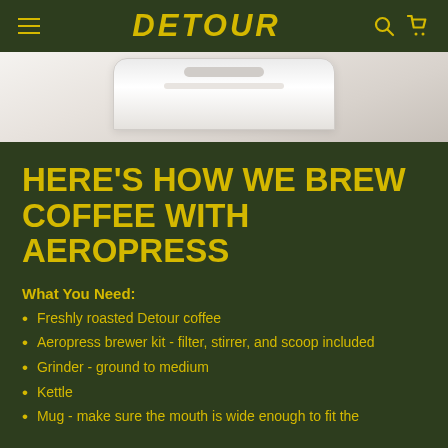DETOUR
[Figure (photo): Close-up photo of a white AeroPress coffee maker on a light background, showing the top portion of the device]
HERE'S HOW WE BREW COFFEE WITH AEROPRESS
What You Need:
Freshly roasted Detour coffee
Aeropress brewer kit - filter, stirrer, and scoop included
Grinder - ground to medium
Kettle
Mug - make sure the mouth is wide enough to fit the